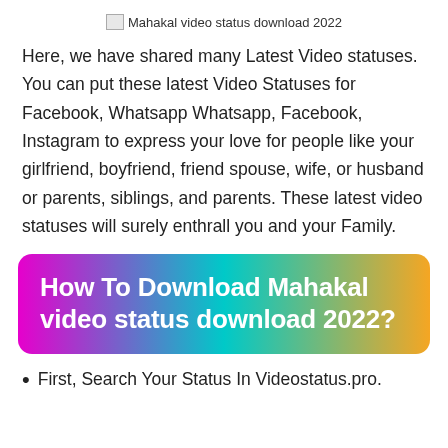[Figure (other): Broken image placeholder with alt text: Mahakal video status download 2022]
Here, we have shared many Latest Video statuses. You can put these latest Video Statuses for Facebook, Whatsapp Whatsapp, Facebook, Instagram to express your love for people like your girlfriend, boyfriend, friend spouse, wife, or husband or parents, siblings, and parents. These latest video statuses will surely enthrall you and your Family.
How To Download Mahakal video status download 2022?
First, Search Your Status In Videostatus.pro.